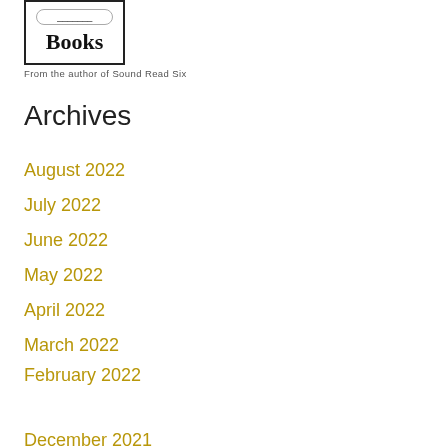[Figure (illustration): Book cover image with a bordered box showing the word 'Books' and a tagline 'From the author of Sound Read Six']
From the author of Sound Read Six
Archives
August 2022
July 2022
June 2022
May 2022
April 2022
March 2022
February 2022
[Figure (other): Support Me button with Ko-fi cup icon in cyan/teal rounded rectangle]
December 2021